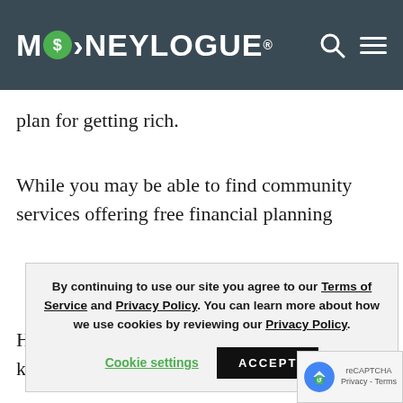MONEYLOGUE®
plan for getting rich.
While you may be able to find community services offering free financial planning
By continuing to use our site you agree to our Terms of Service and Privacy Policy. You can learn more about how we use cookies by reviewing our Privacy Policy.
Cookie settings  ACCEPT
However, you choose to educate yours… know that this step will be an ongoing